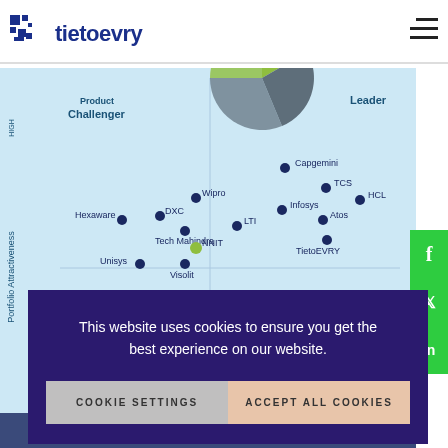[Figure (logo): TietoEVRY logo with blue pixel icon and text]
[Figure (scatter-plot): ISG Provider Lens quadrant chart showing Portfolio Attractiveness vs Competitive Strength. Quadrants: Leader (top right), Product Challenger (top left), Market Challenger (bottom right), Contender (bottom left). Companies plotted: Capgemini, TCS, HCL, Infosys, Atos, TietoEVRY, LTI, Wipro, DXC, Hexaware, Tech Mahindra, NNIT, Unisys, Visolit, Atea, Innofactor, Accenture, CGI]
This website uses cookies to ensure you get the best experience on our website.
COOKIE SETTINGS
ACCEPT ALL COOKIES